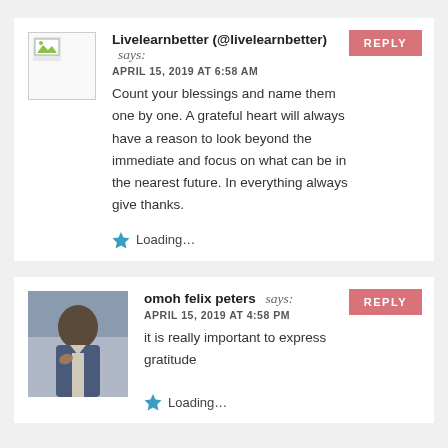Livelearnbetter (@livelearnbetter) says: APRIL 15, 2019 AT 6:58 AM Count your blessings and name them one by one. A grateful heart will always have a reason to look beyond the immediate and focus on what can be in the nearest future. In everything always give thanks.
Loading...
omoh felix peters says: APRIL 15, 2019 AT 4:58 PM it is really important to express gratitude
Loading...